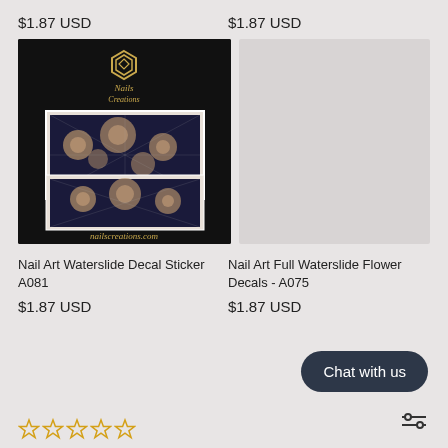$1.87 USD
$1.87 USD
[Figure (photo): Nail Art Waterslide Decal Sticker A081 product image on black background with nailscreations.com logo]
[Figure (photo): Nail Art Full Waterslide Flower Decals A075 product image placeholder (blank)]
Nail Art Waterslide Decal Sticker A081
Nail Art Full Waterslide Flower Decals - A075
$1.87 USD
$1.87 USD
Chat with us